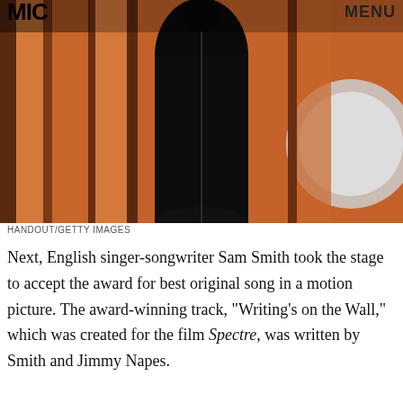MIC   MENU
[Figure (photo): Close-up photo of a dark black bottle or fragrance bottle silhouette against an orange and white blurred background with shelf-like structures]
HANDOUT/GETTY IMAGES
Next, English singer-songwriter Sam Smith took the stage to accept the award for best original song in a motion picture. The award-winning track, "Writing's on the Wall," which was created for the film Spectre, was written by Smith and Jimmy Napes.